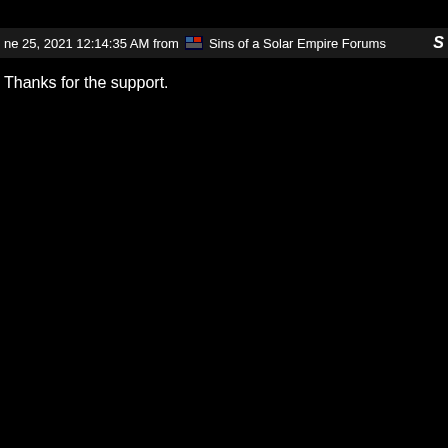ne 25, 2021 12:14:35 AM from  Sins of a Solar Empire Forums
Thanks for the support.
une 25, 2021 4:05:42 PM from  Sins of a Solar Empire Forums
wHorizons, reply 8
lion.user.setting override to be able to move the mod directory t
ble to play any mods as they always get backed up to OneDri